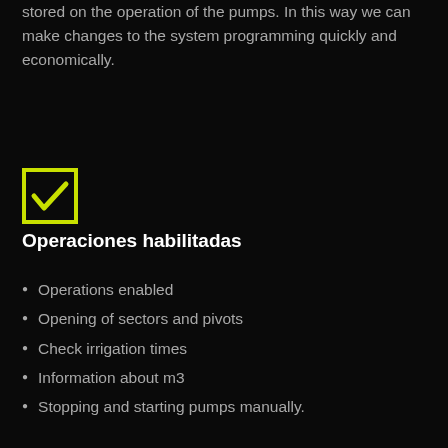stored on the operation of the pumps. In this way we can make changes to the system programming quickly and economically.
[Figure (illustration): Yellow-bordered checkbox with a yellow checkmark on a black background]
Operaciones habilitadas
Operations enabled
Opening of sectors and pivots
Check irrigation times
Information about m3
Stopping and starting pumps manually.